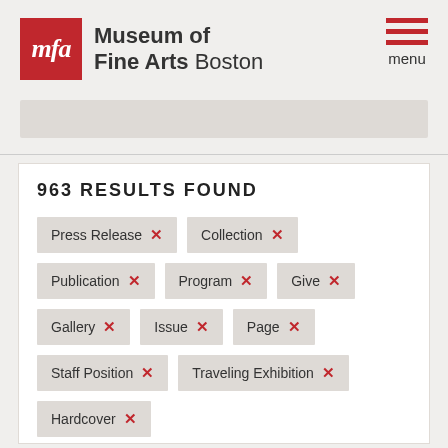Museum of Fine Arts Boston
963 RESULTS FOUND
Press Release ×
Collection ×
Publication ×
Program ×
Give ×
Gallery ×
Issue ×
Page ×
Staff Position ×
Traveling Exhibition ×
Hardcover ×